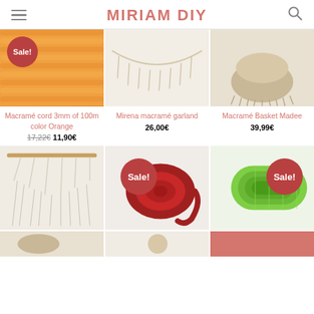MIRIAM DIY
[Figure (photo): Macramé cord orange coiled rope with Sale! badge]
[Figure (photo): Mirena macramé garland hanging decoration]
[Figure (photo): Macramé Basket Madee with fringe]
Macramé cord 3mm of 100m color Orange
17,22€  11,90€
Mirena macramé garland
26,00€
Macramé Basket Madee
39,99€
[Figure (photo): White macramé wall hanging on wooden rod]
[Figure (photo): Red coiled rope with Sale! badge]
[Figure (photo): Green cord roll with Sale! badge]